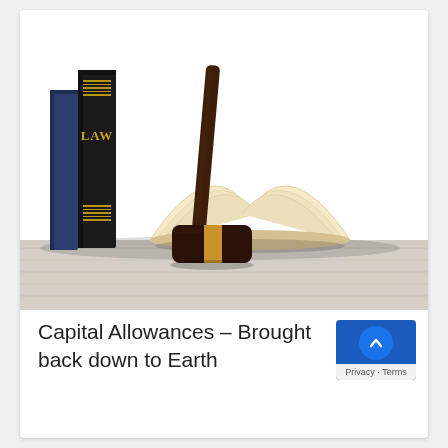[Figure (photo): Photo of law books, a wooden judge's gavel with gold band, and an open book arranged on a white wooden surface against a white background.]
Capital Allowances – Brought back down to Earth